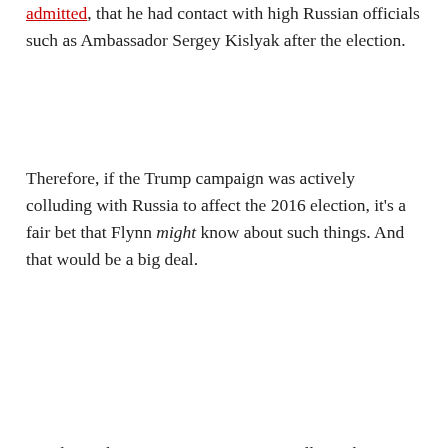admitted, that he had contact with high Russian officials such as Ambassador Sergey Kislyak after the election.
Therefore, if the Trump campaign was actively colluding with Russia to affect the 2016 election, it's a fair bet that Flynn might know about such things. And that would be a big deal.
But this is the Trump campaign we're talking about here.
In an ordinary presidential campaign, overtures to a traditionally hostile foreign power would be inconceivable. If such a thing  were to occur, it would only be after careful consultation by the candidate with his or her senior foreign policy advisers — which, for Trump, would have included Michael Flynn. But if we know anything about the "Trump campaign," it is that it